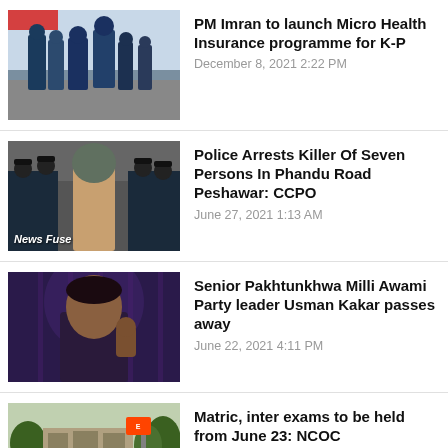PM Imran to launch Micro Health Insurance programme for K-P
December 8, 2021 2:22 PM
Police Arrests Killer Of Seven Persons In Phandu Road Peshawar: CCPO
June 27, 2021 1:13 AM
Senior Pakhtunkhwa Milli Awami Party leader Usman Kakar passes away
June 22, 2021 4:11 PM
Matric, inter exams to be held from June 23: NCOC
May 30, 2021 1:25 AM
Police allowed to conduct raids in tribal areas